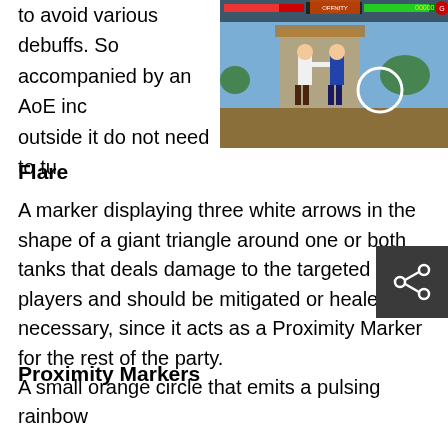to avoid various debuffs. So accompanied by an AoE inc outside it do not need to tu
[Figure (screenshot): Video game screenshot showing two fighting game characters in combat on a stage, with a game HUD overlay showing health bars and score. An orange/red UI overlay is partially visible at top.]
Flare
A marker displaying three white arrows in the shape of a giant triangle around one or both tanks that deals damage to the targeted players and should be mitigated or healed as necessary, since it acts as a Proximity Marker for the rest of the party.
[Figure (other): Share button icon (dark grey square with share/network icon)]
Proximity Markers
A small orange circle that emits a pulsing rainbow